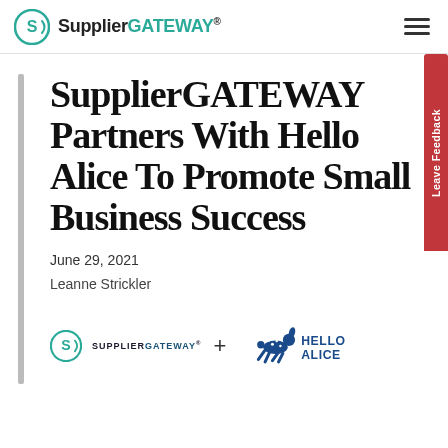SupplierGATEWAY® [hamburger menu]
SupplierGATEWAY Partners With Hello Alice To Promote Small Business Success
June 29, 2021
Leanne Strickler
[Figure (logo): SupplierGATEWAY logo + Hello Alice logo with a plus sign between them]